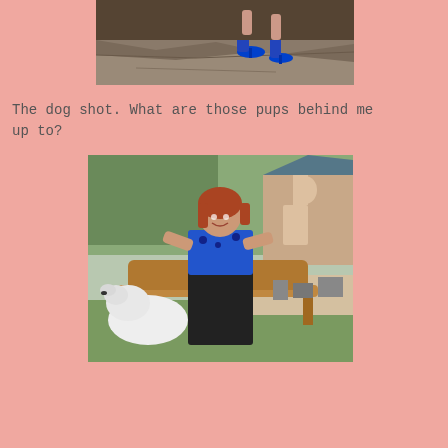[Figure (photo): Close-up photo of woman's feet wearing blue high-heeled shoes on stone pavement]
The dog shot. What are those pups behind me up to?
[Figure (photo): Woman with red hair wearing a blue top and black skirt sitting on a wooden bench outdoors with a white dog, house and patio furniture visible in background]